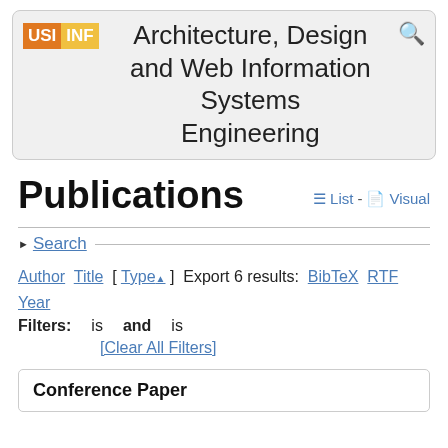Architecture, Design and Web Information Systems Engineering
Publications
≡ List - Visual
Search
Author Title [ Type▲ ] Export 6 results: BibTeX RTF Year
Filters: is and is
[Clear All Filters]
Conference Paper